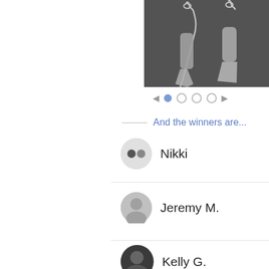[Figure (photo): Close-up photo of silver dangle earrings on a dark background]
[Figure (infographic): Carousel navigation: left arrow, filled dot, three empty dots, right arrow]
And the winners are...
Nikki
Jeremy M.
Kelly G.